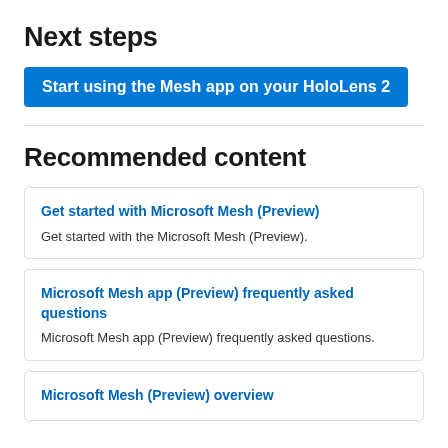Next steps
Start using the Mesh app on your HoloLens 2
Recommended content
Get started with Microsoft Mesh (Preview)
Get started with the Microsoft Mesh (Preview).
Microsoft Mesh app (Preview) frequently asked questions
Microsoft Mesh app (Preview) frequently asked questions.
Microsoft Mesh (Preview) overview